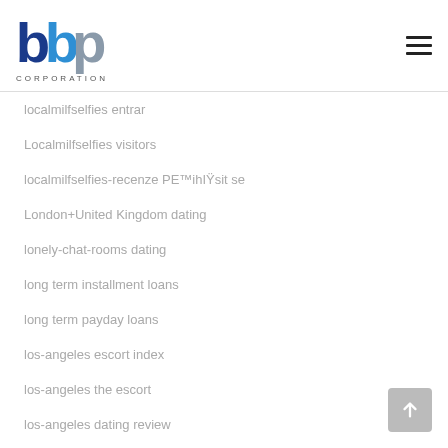[Figure (logo): BBP Corporation logo with blue and gray letter forms]
localmilfselfies entrar
Localmilfselfies visitors
localmilfselfies-recenze PE™ihIŸsit se
London+United Kingdom dating
lonely-chat-rooms dating
long term installment loans
long term payday loans
los-angeles escort index
los-angeles the escort
los-angeles dating review